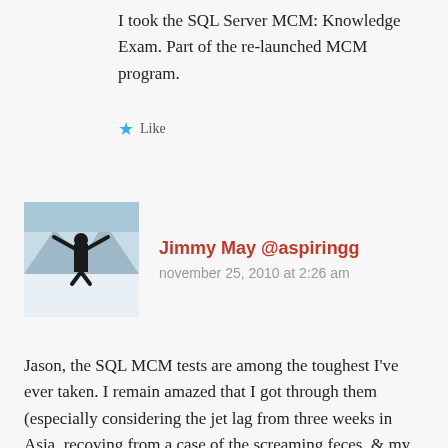I took the SQL Server MCM: Knowledge Exam. Part of the re-launched MCM program.
Like
Jimmy May @aspiringg
november 25, 2010 at 2:26 am
[Figure (photo): Avatar photo of a person with arms raised on a snowy mountain slope]
Jason, the SQL MCM tests are among the toughest I've ever taken. I remain amazed that I got through them (especially considering the jet lag from three weeks in Asia, recoving from a case of the screaming feces, & my notebook's HDD failing in the middle of the first week).
Bless your heart not only for trying, but also for being so forthcoming about it. I'm reminded of